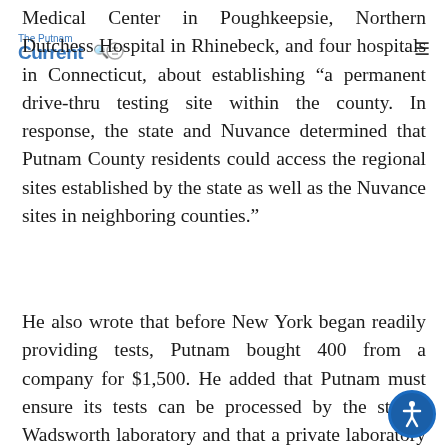Current (logo) | search icon | hamburger menu
Medical Center in Poughkeepsie, Northern Dutchess Hospital in Rhinebeck, and four hospitals in Connecticut, about establishing “a permanent drive-thru testing site within the county. In response, the state and Nuvance determined that Putnam County residents could access the regional sites established by the state as well as the Nuvance sites in neighboring counties.”
He also wrote that before New York began readily providing tests, Putnam bought 400 from a company for $1,500. He added that Putnam must ensure its tests can be processed by the state’s Wadsworth laboratory and that a private laboratory would charge $50 to $75 per test.